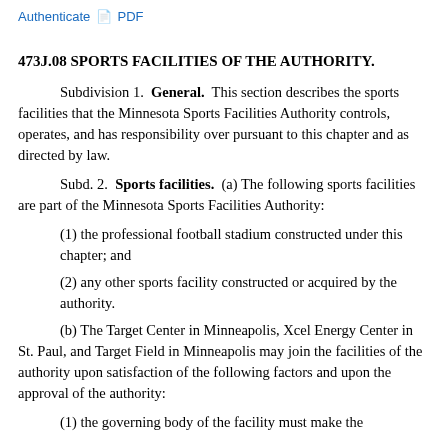Authenticate PDF
473J.08 SPORTS FACILITIES OF THE AUTHORITY.
Subdivision 1. General. This section describes the sports facilities that the Minnesota Sports Facilities Authority controls, operates, and has responsibility over pursuant to this chapter and as directed by law.
Subd. 2. Sports facilities. (a) The following sports facilities are part of the Minnesota Sports Facilities Authority:
(1) the professional football stadium constructed under this chapter; and
(2) any other sports facility constructed or acquired by the authority.
(b) The Target Center in Minneapolis, Xcel Energy Center in St. Paul, and Target Field in Minneapolis may join the facilities of the authority upon satisfaction of the following factors and upon the approval of the authority:
(1) the governing body of the facility must make the